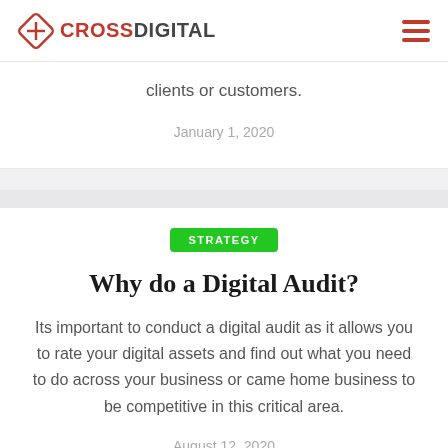CROSS DIGITAL
clients or customers.
January 1, 2020
STRATEGY
Why do a Digital Audit?
Its important to conduct a digital audit as it allows you to rate your digital assets and find out what you need to do across your business or came home business to be competitive in this critical area.
August 12, 2020